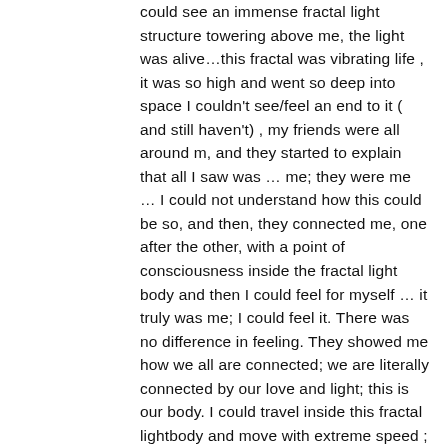could see an immense fractal light structure towering above me, the light was alive…this fractal was vibrating life , it was so high and went so deep into space I couldn't see/feel an end to it ( and still haven't) , my friends were all around m, and they started to explain that all I saw was … me; they were me … I could not understand how this could be so, and then, they connected me, one after the other, with a point of consciousness inside the fractal light body and then I could feel for myself … it truly was me; I could feel it. There was no difference in feeling. They showed me how we all are connected; we are literally connected by our love and light; this is our body. I could travel inside this fractal lightbody and move with extreme speed ; later on I found out I could also go outside … This fractal lightbody is built up, fractal after fractal, of points of consciousness … I felt past lives, but also influences I couldn't understand … Each point of consciousness is a doorway to other realities … All